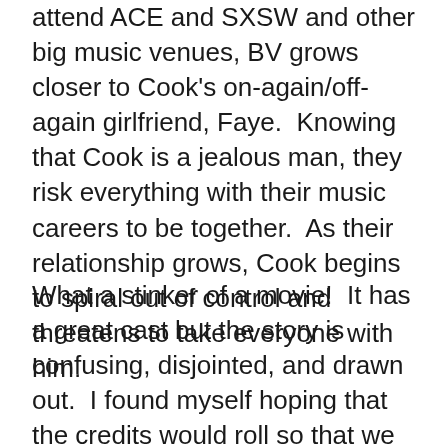attend ACE and SXSW and other big music venues, BV grows closer to Cook's on-again/off-again girlfriend, Faye.  Knowing that Cook is a jealous man, they risk everything with their music careers to be together.  As their relationship grows, Cook begins to spiral out of control and threatens to take everyone with him.
What a stinker of a movie!  It has a great cast but the story is confusing, disjointed, and drawn out.  I found myself hoping that the credits would roll so that we could all be released from this torture.  I'm told that this is a common filming technique of Malick, and I honestly never want to see anything of his again. E...